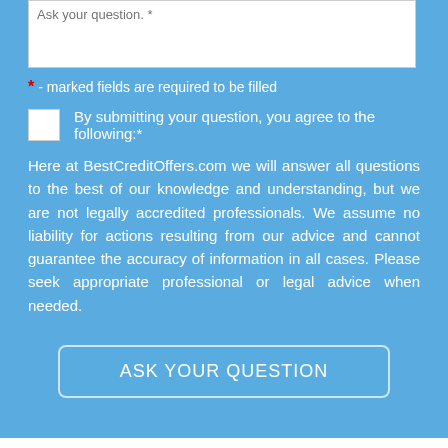Ask your question. *
* - marked fields are required to be filled
By submitting your question, you agree to the following:*
Here at BestCreditOffers.com we will answer all questions to the best of our knowledge and understanding, but we are not legally accredited professionals. We assume no liability for actions resulting from our advice and cannot guarantee the accuracy of information in all cases. Please seek appropriate professional or legal advice when needed.
ASK YOUR QUESTION
LOOKING FOR A CARD?
There is a credit card for any credit and for any purpose. Whether you want to start building your credit from scratch or earn rewards